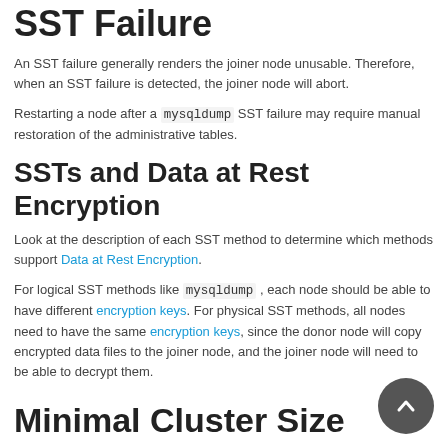SST Failure
An SST failure generally renders the joiner node unusable. Therefore, when an SST failure is detected, the joiner node will abort.
Restarting a node after a mysqldump SST failure may require manual restoration of the administrative tables.
SSTs and Data at Rest Encryption
Look at the description of each SST method to determine which methods support Data at Rest Encryption.
For logical SST methods like mysqldump , each node should be able to have different encryption keys. For physical SST methods, all nodes need to have the same encryption keys, since the donor node will copy encrypted data files to the joiner node, and the joiner node will need to be able to decrypt them.
Minimal Cluster Size